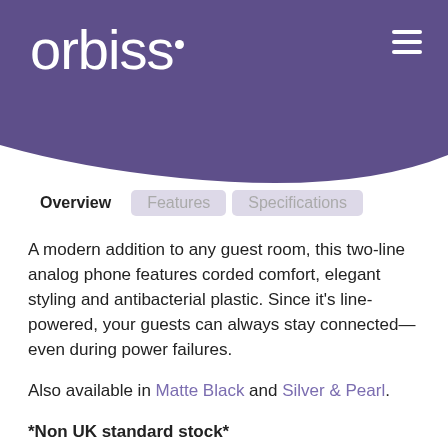orbiss
Overview   Features   Specifications
A modern addition to any guest room, this two-line analog phone features corded comfort, elegant styling and antibacterial plastic. Since it’s line-powered, your guests can always stay connected—even during power failures.
Also available in Matte Black and Silver & Pearl.
*Non UK standard stock*
*Supply only/ Not programmed*